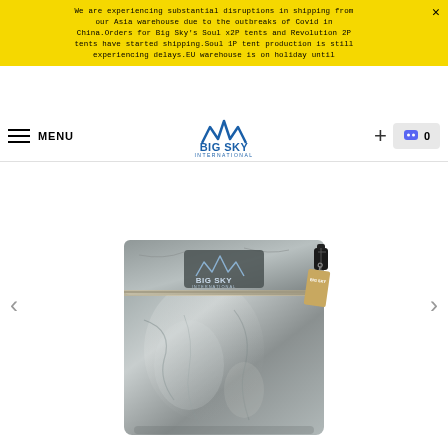We are experiencing substantial disruptions in shipping from our Asia warehouse due to the outbreaks of Covid in China.Orders for Big Sky's Soul x2P tents and Revolution 2P tents have started shipping.Soul 1P tent production is still experiencing delays.EU warehouse is on holiday until
[Figure (logo): Big Sky International logo in navigation bar - mountain peaks icon with BIG SKY INTERNATIONAL text]
[Figure (photo): Big Sky International silver/grey Cuben fiber or Dyneema stuff sack bag with rolled/folded top closure and black toggle buckle, showing BIG SKY INTERNATIONAL label patch and a hang tag. The bag has a crinkled metallic appearance.]